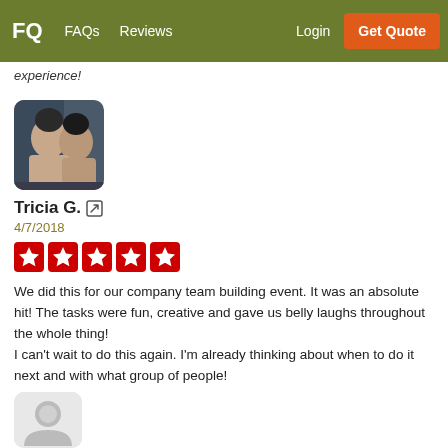FQ  FAQs  Reviews  Login  Get Quote
experience!
[Figure (photo): Profile photo of Tricia G. showing two people smiling]
Tricia G.
4/7/2018
[Figure (other): Five red star rating boxes]
We did this for our company team building event. It was an absolute hit! The tasks were fun, creative and gave us belly laughs throughout the whole thing!
I can't wait to do this again. I'm already thinking about when to do it next and with what group of people!
[Figure (photo): Default grey avatar placeholder icon]